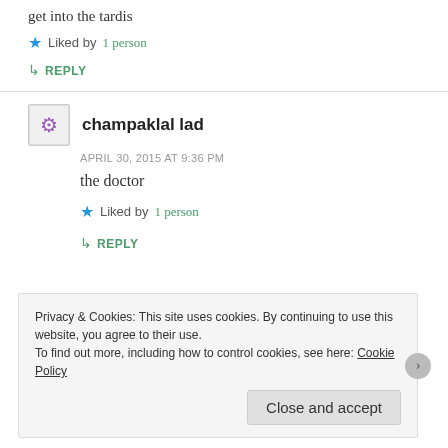get into the tardis
★ Liked by 1 person
↳ REPLY
champaklal lad
APRIL 30, 2015 AT 9:36 PM
the doctor
★ Liked by 1 person
↳ REPLY
Privacy & Cookies: This site uses cookies. By continuing to use this website, you agree to their use.
To find out more, including how to control cookies, see here: Cookie Policy
Close and accept